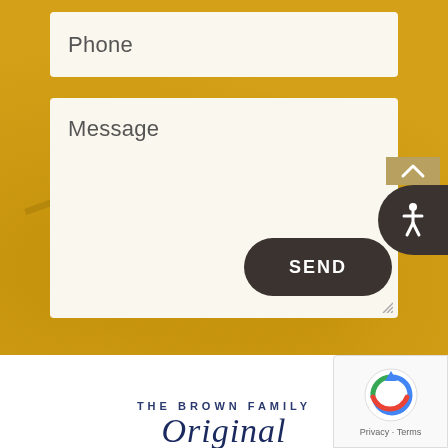[Figure (screenshot): Contact form input field labeled 'Phone' with cream/off-white background on golden BBQ-themed webpage background]
[Figure (screenshot): Contact form textarea labeled 'Message' with cream/off-white background on golden BBQ-themed webpage background]
[Figure (screenshot): Dark rounded 'SEND' button for form submission]
[Figure (screenshot): Accessibility icon badge (wheelchair symbol) in dark circular element at bottom right]
THE BROWN FAMILY
Original